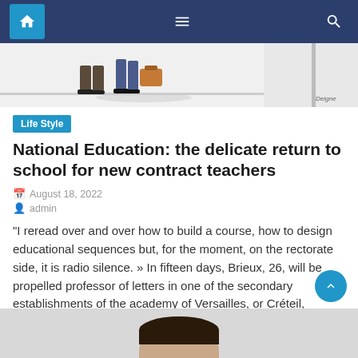Navigation bar with home, menu, and search icons
[Figure (illustration): Partial illustration showing walking figures (people from waist down) with a briefcase/bag, in a cartoon/comic style, signed 'Deigne' in the bottom right corner]
Life Style
National Education: the delicate return to school for new contract teachers
August 18, 2022
admin
“I reread over and over how to build a course, how to design educational sequences but, for the moment, on the rectorate side, it is radio silence. » In fifteen days, Brieux, 26, will be propelled professor of letters in one of the secondary establishments of the academy of Versailles, or Créteil, without knowing where [...]
[Figure (photo): Partial photo of a person visible at the bottom of the page]